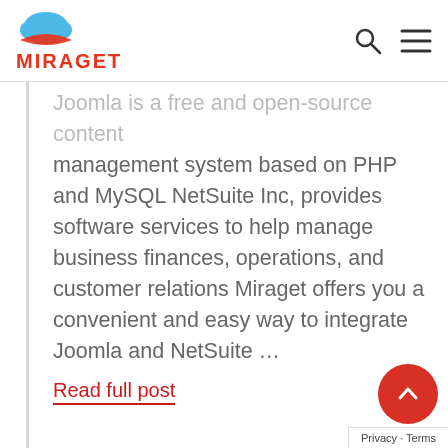[Figure (logo): Miraget logo: blue cloud icon above red swoosh, with red text MIRAGET below]
[Figure (other): Search icon (magnifying glass) and hamburger menu icon in header navigation]
Joomla is a free and open-source content management system based on PHP and MySQL NetSuite Inc, provides software services to help manage business finances, operations, and customer relations Miraget offers you a convenient and easy way to integrate Joomla and NetSuite …
Read full post
[Figure (other): Red circular scroll-to-top button with white chevron/arrow pointing up]
Privacy · Terms